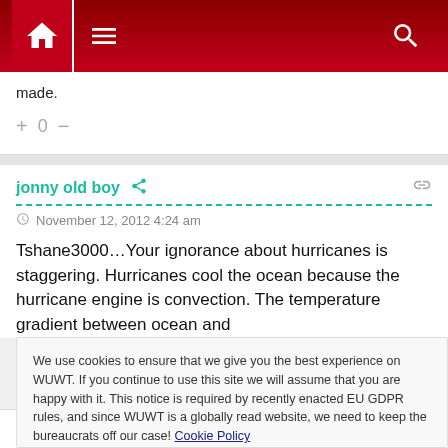[Figure (screenshot): Website navigation bar with home icon, hamburger menu icon, and search icon on dark red background]
made.
+ 0 −
jonny old boy
November 12, 2012 4:24 am
Tshane3000…Your ignorance about hurricanes is staggering. Hurricanes cool the ocean because the hurricane engine is convection. The temperature gradient between ocean and
We use cookies to ensure that we give you the best experience on WUWT. If you continue to use this site we will assume that you are happy with it. This notice is required by recently enacted EU GDPR rules, and since WUWT is a globally read website, we need to keep the bureaucrats off our case! Cookie Policy
Close and accept
lowered temperature differentials in certain areas. Not a fact